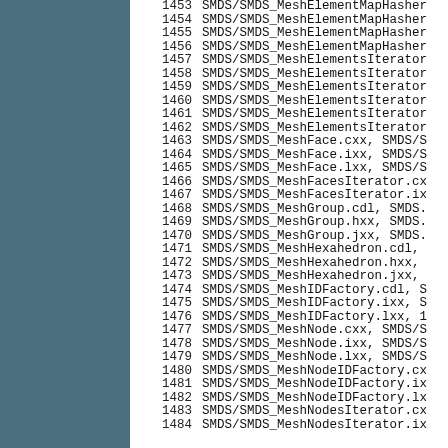1453    SMDS/SMDS_MeshElementMapHasher...
1454    SMDS/SMDS_MeshElementMapHasher...
1455    SMDS/SMDS_MeshElementMapHasher...
1456    SMDS/SMDS_MeshElementMapHasher...
1457    SMDS/SMDS_MeshElementsIterator...
1458    SMDS/SMDS_MeshElementsIterator...
1459    SMDS/SMDS_MeshElementsIterator...
1460    SMDS/SMDS_MeshElementsIterator...
1461    SMDS/SMDS_MeshElementsIterator...
1462    SMDS/SMDS_MeshElementsIterator...
1463    SMDS/SMDS_MeshFace.cxx, SMDS/S...
1464    SMDS/SMDS_MeshFace.ixx, SMDS/S...
1465    SMDS/SMDS_MeshFace.lxx, SMDS/S...
1466    SMDS/SMDS_MeshFacesIterator.cx...
1467    SMDS/SMDS_MeshFacesIterator.ix...
1468    SMDS/SMDS_MeshGroup.cdl, SMDS....
1469    SMDS/SMDS_MeshGroup.hxx, SMDS....
1470    SMDS/SMDS_MeshGroup.jxx, SMDS....
1471    SMDS/SMDS_MeshHexahedron.cdl,...
1472    SMDS/SMDS_MeshHexahedron.hxx,...
1473    SMDS/SMDS_MeshHexahedron.jxx,...
1474    SMDS/SMDS_MeshIDFactory.cdl, S...
1475    SMDS/SMDS_MeshIDFactory.ixx, S...
1476    SMDS/SMDS_MeshIDFactory.lxx, 1...
1477    SMDS/SMDS_MeshNode.cxx, SMDS/S...
1478    SMDS/SMDS_MeshNode.ixx, SMDS/S...
1479    SMDS/SMDS_MeshNode.lxx, SMDS/S...
1480    SMDS/SMDS_MeshNodeIDFactory.cx...
1481    SMDS/SMDS_MeshNodeIDFactory.ix...
1482    SMDS/SMDS_MeshNodeIDFactory.lx...
1483    SMDS/SMDS_MeshNodesIterator.cx...
1484    SMDS/SMDS_MeshNodesIterator.ix...